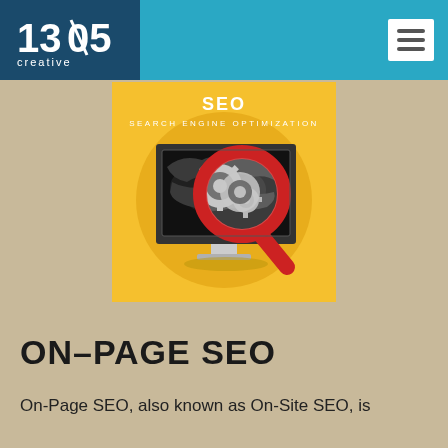1305 Creative
[Figure (illustration): SEO search engine optimization illustration: yellow square background with a circle, a desktop monitor showing a world map with gears, and a large red magnifying glass overlaid. Text 'SEO' and 'SEARCH ENGINE OPTIMIZATION' at the top of the image.]
ON-PAGE SEO
On-Page SEO, also known as On-Site SEO, is